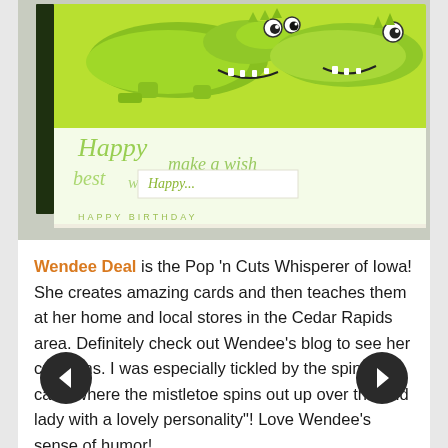[Figure (photo): Photo of a greeting card or paper craft item featuring cartoon green alligators/crocodiles on top, with cursive green text pattern ('Happy', 'make a wish', etc.) on white/light background below, and a dark spine on the left. The card appears to be photographed at an angle on a surface.]
Wendee Deal is the Pop 'n Cuts Whisperer of Iowa! She creates amazing cards and then teaches them at her home and local stores in the Cedar Rapids area. Definitely check out Wendee's blog to see her creations. I was especially tickled by the spinner card, where the mistletoe spins out up over the "old lady with a lovely personality"! Love Wendee's sense of humor!